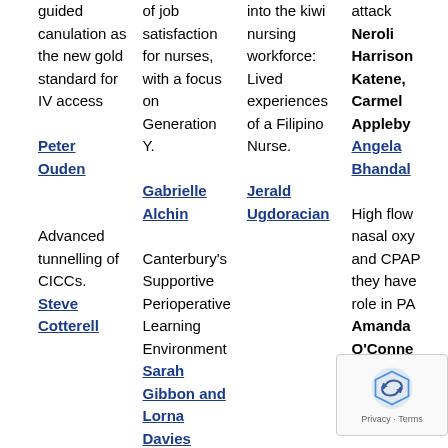guided canulation as the new gold standard for IV access Peter Ouden
Advanced tunnelling of CICCs. Steve Cotterell
of job satisfaction for nurses, with a focus on Generation Y. Gabrielle Alchin
Canterbury's Supportive Perioperative Learning Environment Sarah Gibbon and Lorna Davies
into the kiwi nursing workforce: Lived experiences of a Filipino Nurse. Jerald Ugdoracian
attack Neroli Harrison Katene, Carmel Appleby Angela Bhandal
High flow nasal oxy and CPAP they have role in PA Amanda O'Conne...